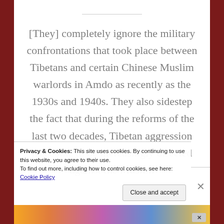[They] completely ignore the military confrontations that took place between Tibetans and certain Chinese Muslim warlords in Amdo as recently as the 1930s and 1940s. They also sidestep the fact that during the reforms of the last two decades, Tibetan aggression has come to be increasingly directed against the Muslim
Privacy & Cookies: This site uses cookies. By continuing to use this website, you agree to their use.
To find out more, including how to control cookies, see here: Cookie Policy
Close and accept